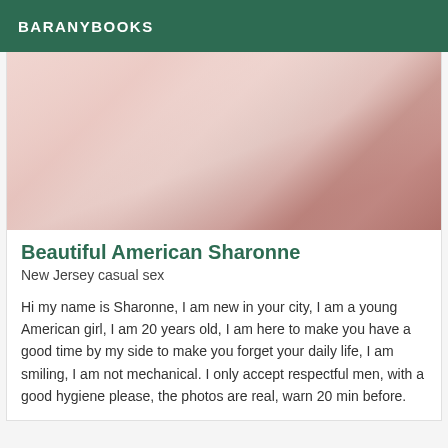BARANYBOOKS
[Figure (photo): Close-up photo of light pink/peach fabric or bedding with soft folds and a warm reddish-pink area in the upper right corner]
Beautiful American Sharonne
New Jersey casual sex
Hi my name is Sharonne, I am new in your city, I am a young American girl, I am 20 years old, I am here to make you have a good time by my side to make you forget your daily life, I am smiling, I am not mechanical. I only accept respectful men, with a good hygiene please, the photos are real, warn 20 min before.